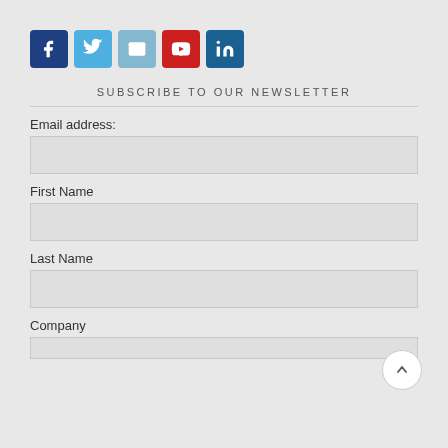[Figure (infographic): Row of five social media icon buttons: Facebook (dark blue), Twitter (light blue), Email (light blue-gray), YouTube (red), LinkedIn (dark blue)]
SUBSCRIBE TO OUR NEWSLETTER
Email address:
First Name
Last Name
Company